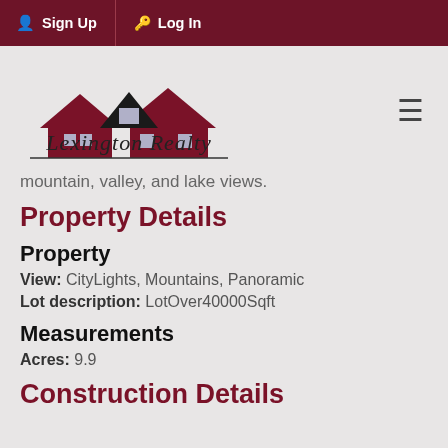Sign Up  Log In
[Figure (logo): Lexington Realty logo with house silhouette illustration and cursive text 'Lexington Realty']
mountain, valley, and lake views.
Property Details
Property
View:  CityLights, Mountains, Panoramic
Lot description:  LotOver40000Sqft
Measurements
Acres:  9.9
Construction Details